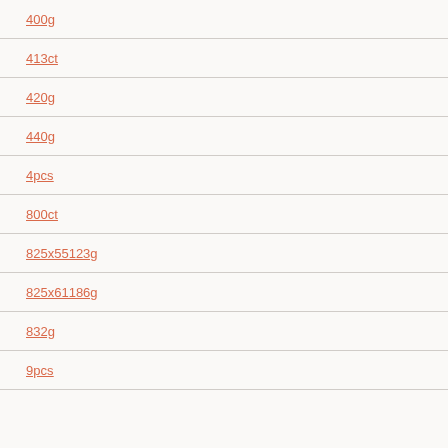400g
413ct
420g
440g
4pcs
800ct
825x55123g
825x61186g
832g
9pcs